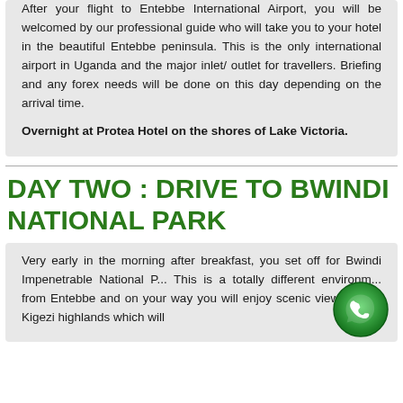After your flight to Entebbe International Airport, you will be welcomed by our professional guide who will take you to your hotel in the beautiful Entebbe peninsula. This is the only international airport in Uganda and the major inlet/ outlet for travellers. Briefing and any forex needs will be done on this day depending on the arrival time.
Overnight at Protea Hotel on the shores of Lake Victoria.
DAY TWO : DRIVE TO BWINDI NATIONAL PARK
Very early in the morning after breakfast, you set off for Bwindi Impenetrable National P... This is a totally different environm... from Entebbe and on your way you will enjoy scenic views of the Kigezi highlands which will